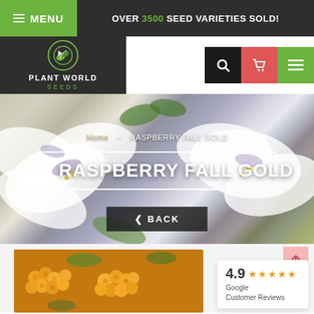MENU | OVER 3500 SEED VARIETIES SOLD!
[Figure (logo): Plant World Seeds logo — circular green leaf emblem with text PLANT WORLD SEEDS]
[Figure (screenshot): Hero banner showing white flowers with breadcrumb navigation Home > RASPBERRY FALL GOLD, a bordered product title box, and a BACK button]
RASPBERRY FALL GOLD
Home → RASPBERRY FALL GOLD
[Figure (photo): Close-up photo of golden/yellow raspberries]
4.9 ★★★★★ Google Customer Reviews